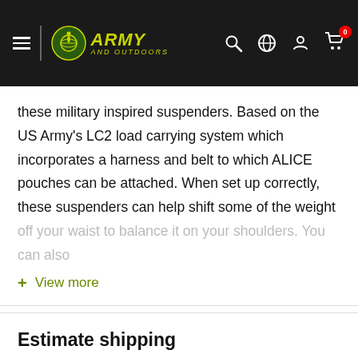Army and Outdoors
these military inspired suspenders. Based on the US Army's LC2 load carrying system which incorporates a harness and belt to which ALICE pouches can be attached. When set up correctly, these suspenders can help shift some of the weight off your waist to balance it on your shoulders. You can also
+ View more
Estimate shipping
Country
United States